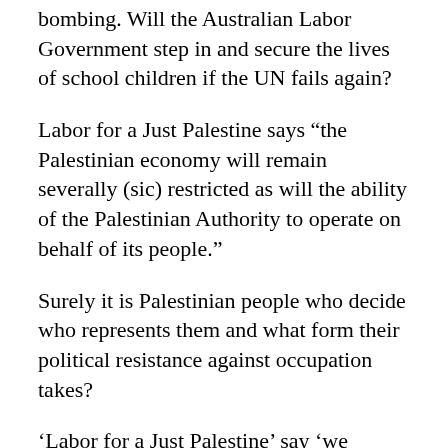bombing. Will the Australian Labor Government step in and secure the lives of school children if the UN fails again?
Labor for a Just Palestine says “the Palestinian economy will remain severally (sic) restricted as will the ability of the Palestinian Authority to operate on behalf of its people.”
Surely it is Palestinian people who decide who represents them and what form their political resistance against occupation takes?
'Labor for a Just Palestine' say 'we believe that both Israelis and Palestinians have the right to live in peace and security within internationally accepted borders with United Nations Resolutions.'
What does the ‘internationally accepted borders’